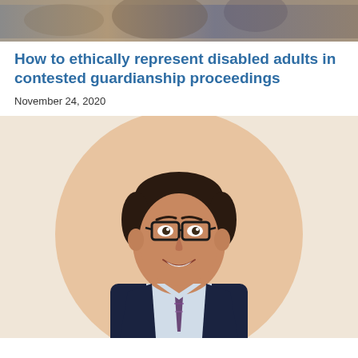[Figure (photo): Top banner image showing group of people in a meeting or professional setting, partially cropped]
How to ethically represent disabled adults in contested guardianship proceedings
November 24, 2020
[Figure (photo): Professional headshot of a middle-aged man wearing glasses, dark suit and striped tie, smiling, against a beige circular background]